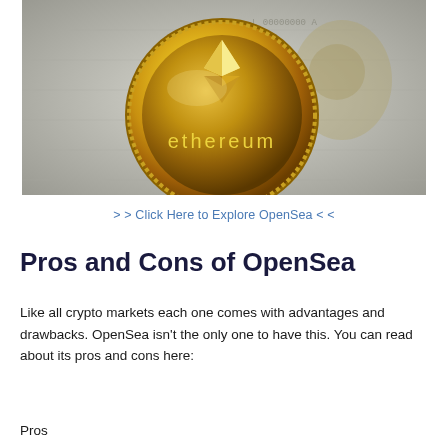[Figure (photo): Close-up photograph of a gold Ethereum coin with the Ethereum logo and the word 'ethereum' engraved on it, placed on a US dollar bill background.]
> > Click Here to Explore OpenSea < <
Pros and Cons of OpenSea
Like all crypto markets each one comes with advantages and drawbacks. OpenSea isn't the only one to have this. You can read about its pros and cons here:
Pros